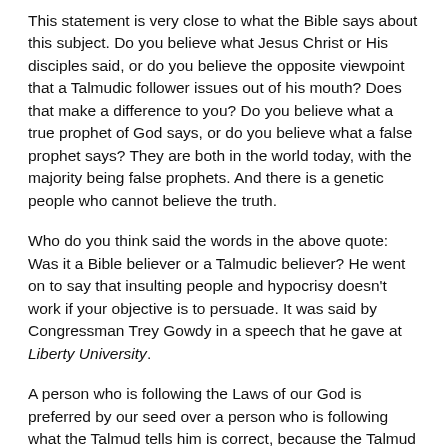This statement is very close to what the Bible says about this subject. Do you believe what Jesus Christ or His disciples said, or do you believe the opposite viewpoint that a Talmudic follower issues out of his mouth? Does that make a difference to you? Do you believe what a true prophet of God says, or do you believe what a false prophet says? They are both in the world today, with the majority being false prophets. And there is a genetic people who cannot believe the truth.
Who do you think said the words in the above quote: Was it a Bible believer or a Talmudic believer? He went on to say that insulting people and hypocrisy doesn’t work if your objective is to persuade. It was said by Congressman Trey Gowdy in a speech that he gave at Liberty University.
A person who is following the Laws of our God is preferred by our seed over a person who is following what the Talmud tells him is correct, because the Talmud tells him that it is okay for him to lie to any goyim for almost any reason. That is one reason that the Jews were forbidden to be part of a jury, a part of Congress, or any part of our government in its early stages. Now all races are supposedly equal, so the racial aliens can...